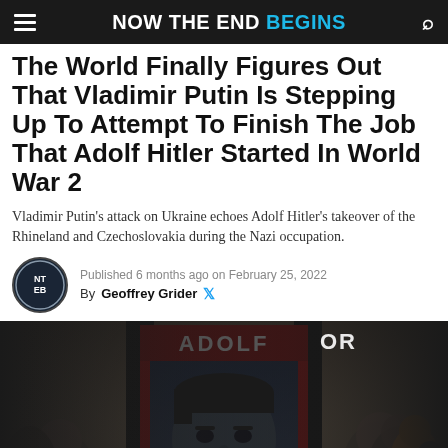NOW THE END BEGINS
The World Finally Figures Out That Vladimir Putin Is Stepping Up To Attempt To Finish The Job That Adolf Hitler Started In World War 2
Vladimir Putin's attack on Ukraine echoes Adolf Hitler's takeover of the Rhineland and Czechoslovakia during the Nazi occupation.
Published 6 months ago on February 25, 2022
By Geoffrey Grider
[Figure (photo): Photo of a poster held up in a crowd showing a composite face of Putin and Hitler with the text ADOLF at the top on a red background]